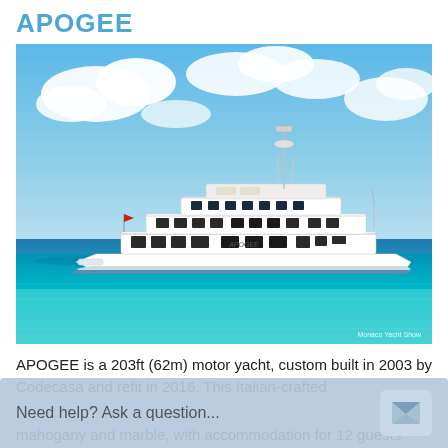APOGEE
[Figure (photo): Large white motor yacht APOGEE on clear turquoise and blue water under a blue sky with clouds. Red flag on bow. 'Monaco Yacht Show' watermark visible in bottom right corner.]
APOGEE is a 203ft (62m) motor yacht, custom built in 2003 by Codecasa and refit in 2016. This Italian-crafted
Need help? Ask a question...
mahogany and marble, with accommodation for 12 guests